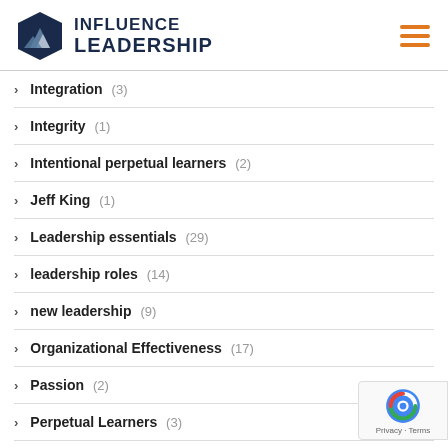[Figure (logo): Influence Leadership logo with hexagon icon and bold text]
Integration (3)
Integrity (1)
Intentional perpetual learners (2)
Jeff King (1)
Leadership essentials (29)
leadership roles (14)
new leadership (9)
Organizational Effectiveness (17)
Passion (2)
Perpetual Learners (3)
Perseverance (7)